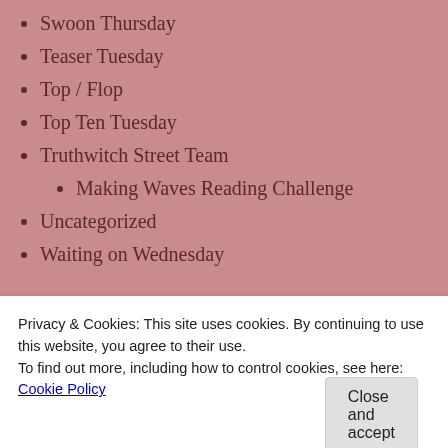Swoon Thursday
Teaser Tuesday
Top / Flop
Top Ten Tuesday
Truthwitch Street Team
Making Waves Reading Challenge
Uncategorized
Waiting on Wednesday
Search
Privacy & Cookies: This site uses cookies. By continuing to use this website, you agree to their use.
To find out more, including how to control cookies, see here: Cookie Policy
Close and accept
Magazine